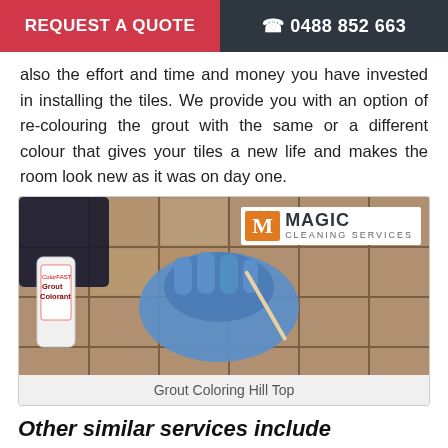REQUEST A QUOTE  ☎ 0488 852 663
also the effort and time and money you have invested in installing the tiles. We provide you with an option of re-colouring the grout with the same or a different colour that gives your tiles a new life and makes the room look new as it was on day one.
[Figure (photo): A person wearing a blue glove applying grout colorant to tile grout lines using a small applicator. A bottle of grout colorant is visible on the left. Magic Cleaning Services logo overlaid in upper right corner.]
Grout Coloring Hill Top
Other similar services include